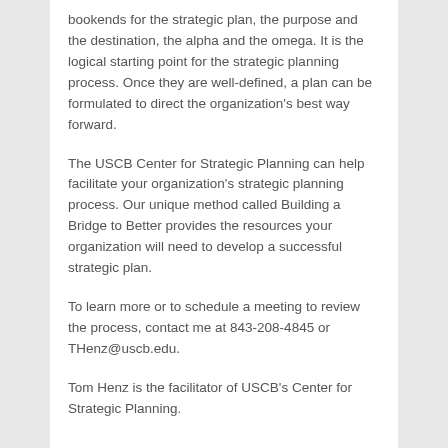bookends for the strategic plan, the purpose and the destination, the alpha and the omega. It is the logical starting point for the strategic planning process. Once they are well-defined, a plan can be formulated to direct the organization's best way forward.
The USCB Center for Strategic Planning can help facilitate your organization's strategic planning process. Our unique method called Building a Bridge to Better provides the resources your organization will need to develop a successful strategic plan.
To learn more or to schedule a meeting to review the process, contact me at 843-208-4845 or THenz@uscb.edu.
Tom Henz is the facilitator of USCB's Center for Strategic Planning.